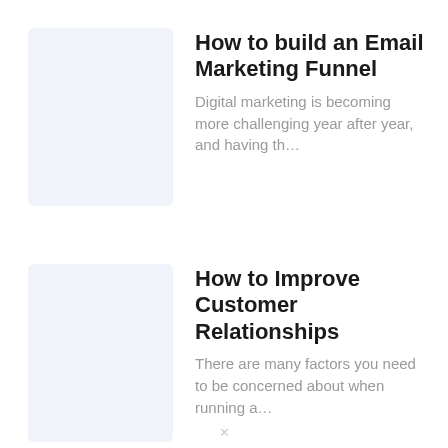How to build an Email Marketing Funnel
Digital marketing is becoming more challenging year after year, and having th…
How to Improve Customer Relationships
There are many factors you need to be concerned about when running a…